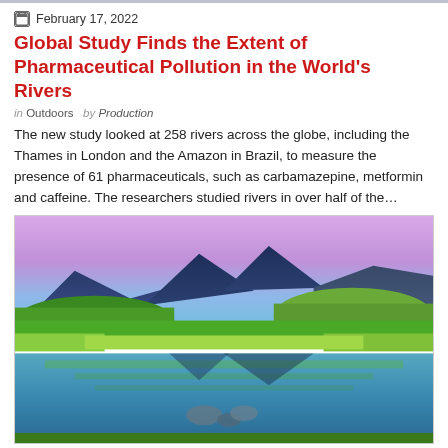February 17, 2022
Global Study Finds the Extent of Pharmaceutical Pollution in the World's Rivers
in Outdoors   by Production
The new study looked at 258 rivers across the globe, including the Thames in London and the Amazon in Brazil, to measure the presence of 61 pharmaceuticals, such as carbamazepine, metformin and caffeine. The researchers studied rivers in over half of the…
[Figure (photo): Vibrant mountain lake landscape with green forested slopes reflected in calm water, purple-pink sky at dusk, Maroon Bells area Colorado style scenery.]